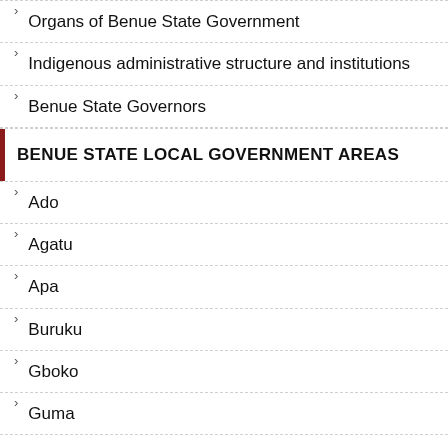Organs of Benue State Government
Indigenous administrative structure and institutions
Benue State Governors
BENUE STATE LOCAL GOVERNMENT AREAS
Ado
Agatu
Apa
Buruku
Gboko
Guma